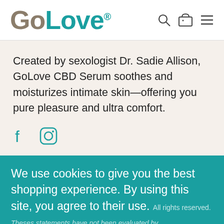[Figure (logo): GoLove brand logo with 'Go' in tan/brown and 'Love' in teal, with registered trademark symbol]
[Figure (illustration): Navigation icons: search magnifier, shopping cart, and hamburger menu]
Created by sexologist Dr. Sadie Allison, GoLove CBD Serum soothes and moisturizes intimate skin—offering you pure pleasure and ultra comfort.
[Figure (illustration): Social media icons: Facebook (f) and Instagram (camera) in teal color]
We use cookies to give you the best shopping experience. By using this site, you agree to their use.
© 2022 GoLove CBD Naturals. All rights reserved.
Theses statements have not been evaluated by
Agree
Privacy